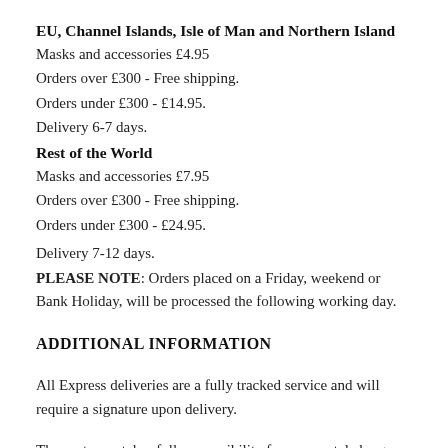EU, Channel Islands, Isle of Man and Northern Island
Masks and accessories £4.95
Orders over £300 - Free shipping.
Orders under £300 - £14.95.
Delivery 6-7 days.
Rest of the World
Masks and accessories £7.95
Orders over £300 - Free shipping.
Orders under £300 - £24.95.
Delivery 7-12 days.
PLEASE NOTE: Orders placed on a Friday, weekend or Bank Holiday, will be processed the following working day.
ADDITIONAL INFORMATION
All Express deliveries are a fully tracked service and will require a signature upon delivery.
The customer takes full responsibility for any postal charges, return shipping costs, customs charges and handling fees should they refuse